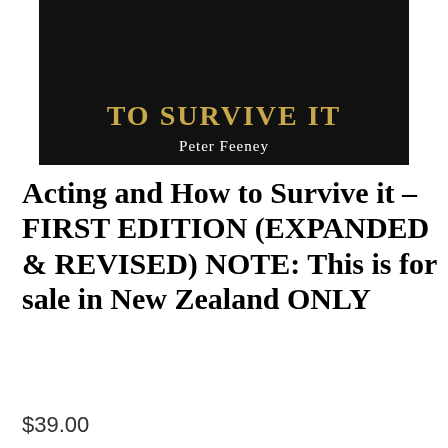[Figure (illustration): Book cover with dark/black background showing partial title 'TO SURVIVE IT' in gold text and author name 'Peter Feeney' in white text]
Acting and How to Survive it – FIRST EDITION (EXPANDED & REVISED) NOTE: This is for sale in New Zealand ONLY
$39.00